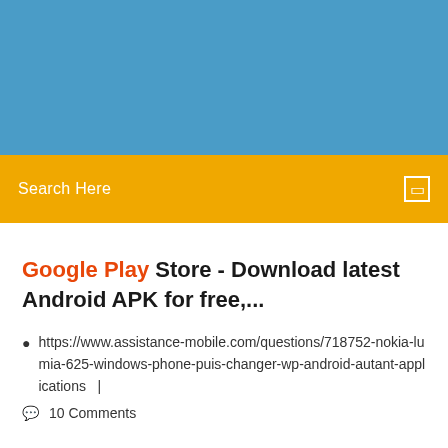[Figure (screenshot): Blue banner header area at the top of a website]
Search Here
Google Play Store - Download latest Android APK for free,...
https://www.assistance-mobile.com/questions/718752-nokia-lumia-625-windows-phone-puis-changer-wp-android-autant-applications  |
10 Comments